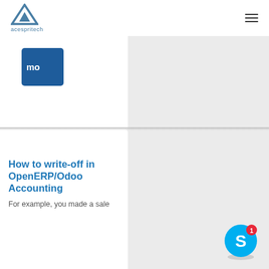acespritech
[Figure (logo): Acespritech logo — triangular 'A' shape in steel blue above the text 'acespritech']
How to write-off in OpenERP/Odoo Accounting
For example, you made a sale